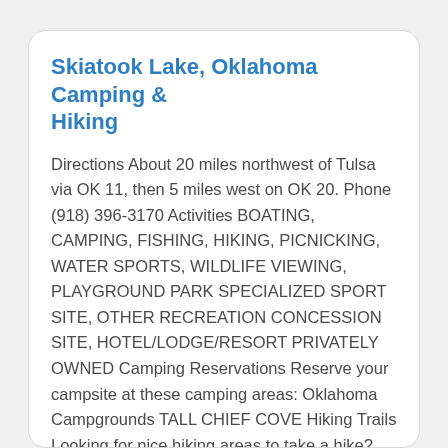Skiatook Lake, Oklahoma Camping & Hiking
Directions About 20 miles northwest of Tulsa via OK 11, then 5 miles west on OK 20. Phone (918) 396-3170 Activities BOATING, CAMPING, FISHING, HIKING, PICNICKING, WATER SPORTS, WILDLIFE VIEWING, PLAYGROUND PARK SPECIALIZED SPORT SITE, OTHER RECREATION CONCESSION SITE, HOTEL/LODGE/RESORT PRIVATELY OWNED Camping Reservations Reserve your campsite at these camping areas: Oklahoma Campgrounds TALL CHIEF COVE Hiking Trails Looking for nice hiking areas to take a hike? Choose from these scenic hiking trails: Oklahoma Hiking Trails Related Link(s) More Oklahoma Recreation Areas Skiatook Lake Website Skiatook Lake Photo Album Crystal Bay Marina Crosstimbers Marina Gentle rolling hills of Blackjack and Post Oak interspersed with Tall Grass